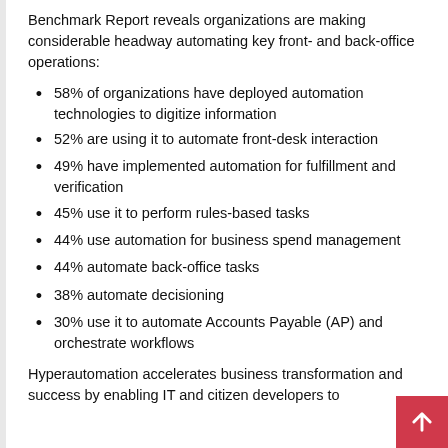Benchmark Report reveals organizations are making considerable headway automating key front- and back-office operations:
58% of organizations have deployed automation technologies to digitize information
52% are using it to automate front-desk interaction
49% have implemented automation for fulfillment and verification
45% use it to perform rules-based tasks
44% use automation for business spend management
44% automate back-office tasks
38% automate decisioning
30% use it to automate Accounts Payable (AP) and orchestrate workflows
Hyperautomation accelerates business transformation and success by enabling IT and citizen developers to